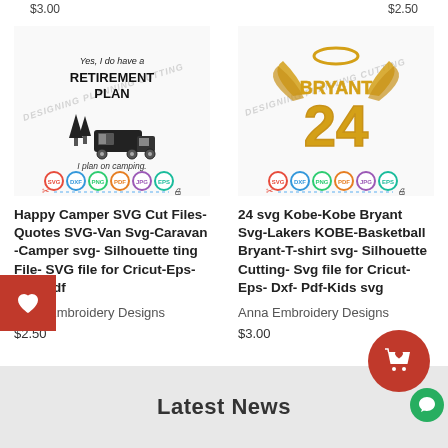$3.00
[Figure (illustration): Happy Camper SVG design with text 'Yes, I do have a RETIREMENT PLAN I plan on camping', trees and camper van illustration, with format icons SVG DXF PNG PDF JPG EPS, and watermark 'DESIGNING PLANNING CUTTING']
Happy Camper SVG Cut Files- Quotes SVG-Van Svg-Caravan -Camper svg- Silhouette ting File- SVG file for Cricut-Eps- Dxf- Pdf
Anna Embroidery Designs
$2.50
[Figure (illustration): Kobe Bryant number 24 SVG design with angel wings and halo, text 'BRYANT 24' in gold/yellow colors, with format icons SVG DXF PNG PDF JPG EPS, and watermark 'DESIGNING PLANNING CUTTING']
24 svg Kobe-Kobe Bryant Svg-Lakers KOBE-Basketball Bryant-T-shirt svg- Silhouette Cutting- Svg file for Cricut- Eps- Dxf- Pdf-Kids svg
Anna Embroidery Designs
$3.00
Latest News